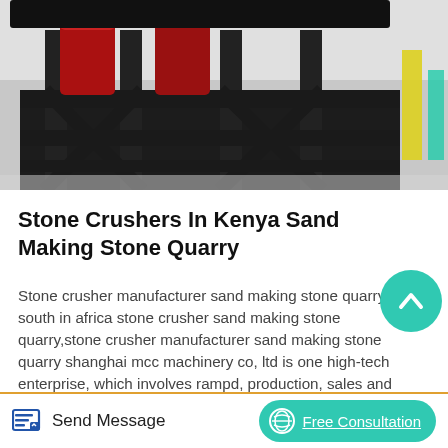[Figure (photo): Industrial stone crusher machinery with dark metal frames and red cylindrical components on a factory floor, with yellow and green elements visible on the right side.]
Stone Crushers In Kenya Sand Making Stone Quarry
Stone crusher manufacturer sand making stone quarry- south in africa stone crusher sand making stone quarry,stone crusher manufacturer sand making stone quarry shanghai mcc machinery co, ltd is one high-tech enterprise, which involves rampd, production, sales and service as well in the past 20 years, we devote to producing .stone crushers in.
Send Message | Free Consultation